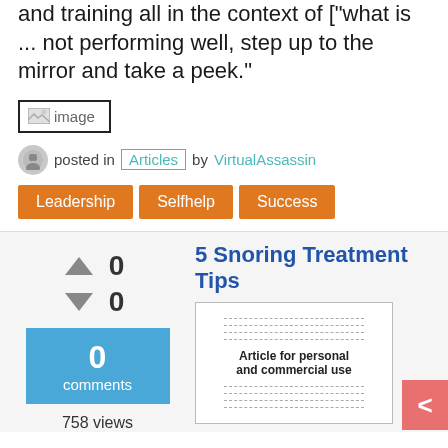and training all in the context of ["what is ... not performing well, step up to the mirror and take a peek."
[Figure (illustration): Broken/placeholder image icon with alt text 'image' inside a bordered box]
posted in Articles by VirtualAssassin
Leadership
Selfhelp
Success
5 Snoring Treatment Tips
0 (up votes)
0 (down votes)
0 comments
758 views
[Figure (illustration): Thumbnail of article with dashed lines and text 'Article for personal and commercial use']